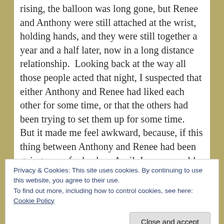rising, the balloon was long gone, but Renee and Anthony were still attached at the wrist, holding hands, and they were still together a year and a half later, now in a long distance relationship.  Looking back at the way all those people acted that night, I suspected that either Anthony and Renee had liked each other for some time, or that the others had been trying to set them up for some time.  But it made me feel awkward, because, if this thing between Anthony and Renee had been going on as far back as April, I never would have asked Renee
Privacy & Cookies: This site uses cookies. By continuing to use this website, you agree to their use.
To find out more, including how to control cookies, see here:
Cookie Policy